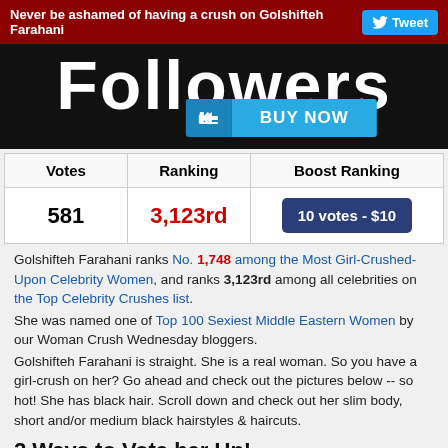Never be ashamed of having a crush on Golshifteh Farahani  Tweet
[Figure (screenshot): Dark banner image showing large white 'Followers' text and a blue 'BUY NOW' button]
| Votes | Ranking | Boost Ranking |
| --- | --- | --- |
| 581 | 3,123rd | 10 votes - $10 |
Golshifteh Farahani ranks No. 1,748 among the Most Girl-Crushed-Upon Celebrity Women, and ranks 3,123rd among all celebrities on the Top Celebrity Crushes list.
She was named one of Top 100 Sexiest Middle Eastern Women by our Woman Crush Wednesday bloggers.
Golshifteh Farahani is straight. She is a real woman. So you have a girl-crush on her? Go ahead and check out the pictures below -- so hot! She has black hair. Scroll down and check out her slim body, short and/or medium black hairstyles & haircuts.
2 Ways to Vote her Up!